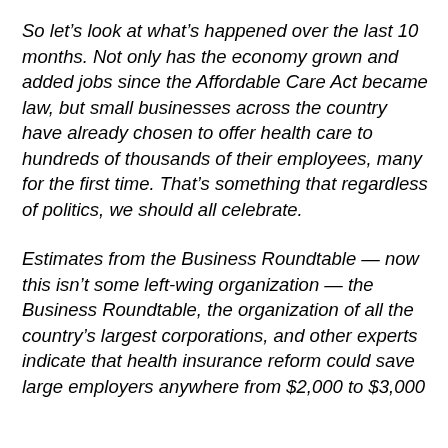So let's look at what's happened over the last 10 months. Not only has the economy grown and added jobs since the Affordable Care Act became law, but small businesses across the country have already chosen to offer health care to hundreds of thousands of their employees, many for the first time. That's something that regardless of politics, we should all celebrate.
Estimates from the Business Roundtable — now this isn't some left-wing organization — the Business Roundtable, the organization of all the country's largest corporations, and other experts indicate that health insurance reform could save large employers anywhere from $2,000 to $3,000